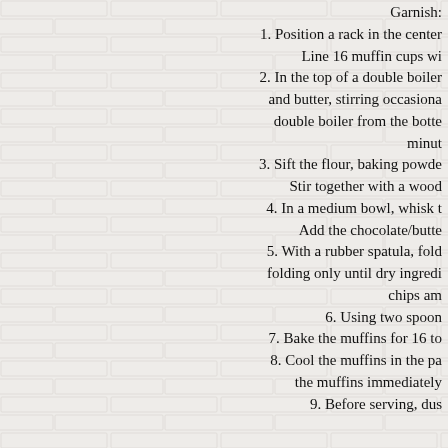Garnish:
1. Position a rack in the center Line 16 muffin cups wi
2. In the top of a double boiler and butter, stirring occasiona double boiler from the bott minut
3. Sift the flour, baking powde Stir together with a woo
4. In a medium bowl, whisk t Add the chocolate/butte
5. With a rubber spatula, fold folding only until dry ingredi chips am
6. Using two spoon
7. Bake the muffins for 16 to
8. Cool the muffins in the pa the muffins immediately
9. Before serving, dus